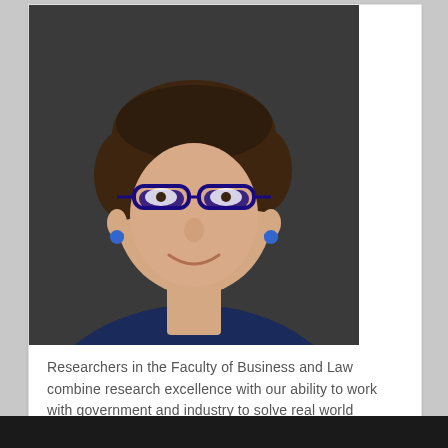[Figure (photo): Portrait photo of Professor Kirsten Holmes, a woman with short brown hair wearing dark-framed glasses and a navy blue top, photographed against a dark background.]
Researchers in the Faculty of Business and Law combine research excellence with our ability to work with government and industry to solve real world problems. Research in the Faculty of Business and Law is very applied and seeks to make an impact on individuals, organisations and communities, improving people's lives and businesses.
Professor Kirsten Holmes
Dean, Research, Faculty of Business and Law